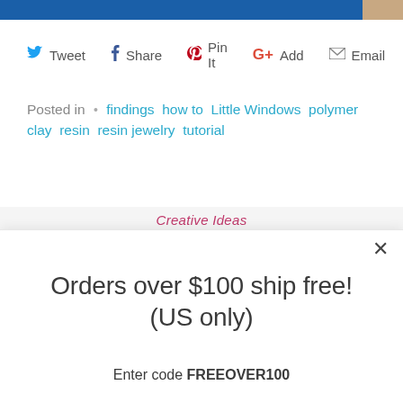[Figure (photo): Top edge of a website page showing a blue banner and partial image on the right]
Tweet   Share   Pin It   Add   Email
Posted in • findings how to Little Windows polymer clay resin resin jewelry tutorial
Creative Ideas
Orders over $100 ship free! (US only)
Enter code FREEOVER100